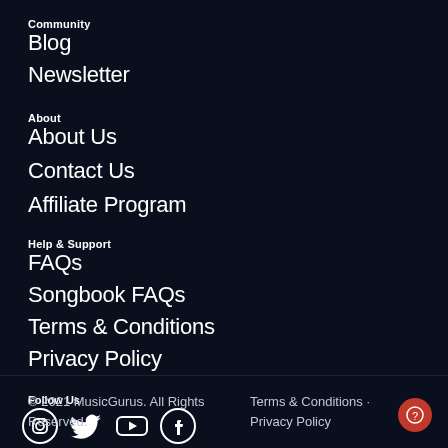Community
Blog
Newsletter
About
About Us
Contact Us
Affiliate Program
Help & Support
FAQs
Songbook FAQs
Terms & Conditions
Privacy Policy
Follow Us
[Figure (illustration): Social media icons: Instagram, Twitter, YouTube, Facebook]
USD
© 2021 MusicGurus. All Rights Reserved.
Terms & Conditions · Privacy Policy